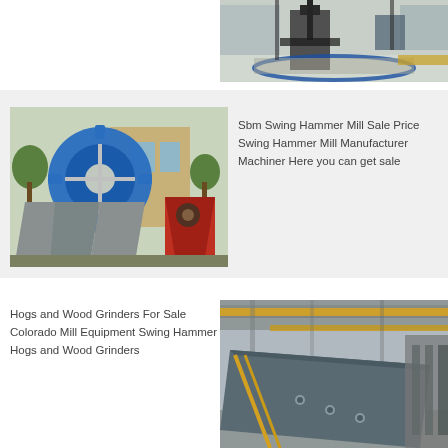[Figure (photo): Industrial machinery in a factory/warehouse setting, appears to show a forklift or crane over gravel/aggregate material on a blue-edged circular area.]
[Figure (photo): Blue industrial sand washing machine or wheel bucket equipment with grey hoppers, and red jaw crusher visible in background, outdoors.]
Sbm Swing Hammer Mill Sale Price Swing Hammer Mill Manufacturer Machiner Here you can get sale
Hogs and Wood Grinders For Sale Colorado Mill Equipment Swing Hammer Hogs and Wood Grinders
[Figure (photo): Industrial workshop interior with a large metal panel or plate on the floor, overhead cranes visible with yellow beams.]